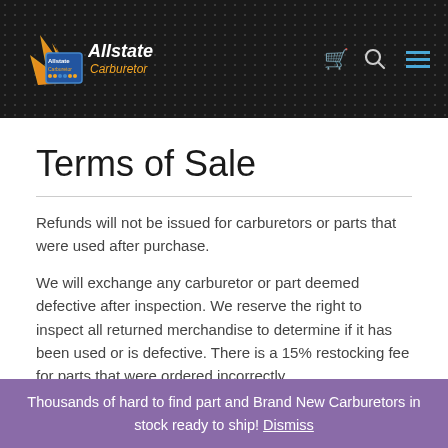[Figure (logo): Allstate Carburetor logo with flame graphic and blue/gold text on dark dotted background header bar]
Terms of Sale
Refunds will not be issued for carburetors or parts that were used after purchase.
We will exchange any carburetor or part deemed defective after inspection. We reserve the right to inspect all returned merchandise to determine if it has been used or is defective. There is a 15% restocking fee for parts that were ordered incorrectly
Thousands of hard to find part and Brand New Carburetors in stock ready to ship! Dismiss